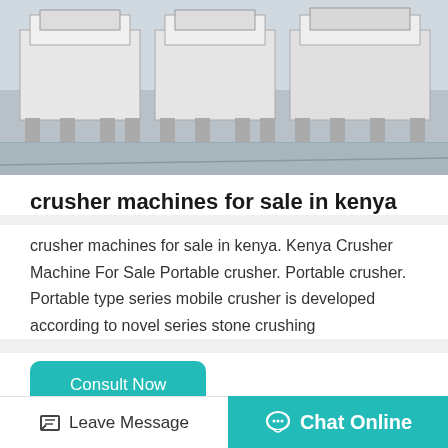[Figure (photo): Industrial crusher machines on a factory floor, multiple white/grey units lined up]
crusher machines for sale in kenya
crusher machines for sale in kenya. Kenya Crusher Machine For Sale Portable crusher. Portable crusher. Portable type series mobile crusher is developed according to novel series stone crushing
Consult Now
[Figure (photo): Close-up of a large industrial crusher machine with a prominent red and grey flywheel, inside a factory with skylights]
Leave Message
Chat Online